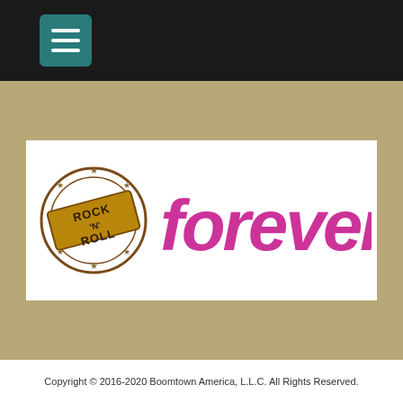[Figure (logo): Navigation bar with teal hamburger menu button on black background]
[Figure (logo): Rock N Roll Forever logo: circular stamp graphic with 'ROCK N ROLL' text on a banner, surrounded by stars, next to large magenta bubbly 'FOREVER' text, on white background within tan/khaki colored section]
Copyright © 2016-2020 Boomtown America, L.L.C. All Rights Reserved.